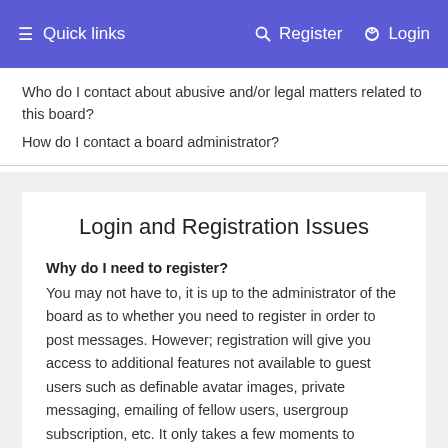☰ Quick links    🔍 Register  ⏻ Login
Who do I contact about abusive and/or legal matters related to this board?
How do I contact a board administrator?
Login and Registration Issues
Why do I need to register?
You may not have to, it is up to the administrator of the board as to whether you need to register in order to post messages. However; registration will give you access to additional features not available to guest users such as definable avatar images, private messaging, emailing of fellow users, usergroup subscription, etc. It only takes a few moments to register so it is recommended you do so.